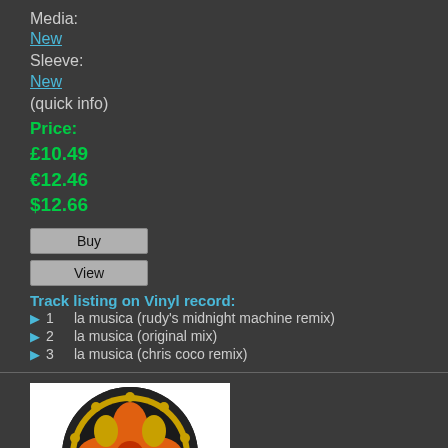Media:
New
Sleeve:
New
(quick info)
Price:
£10.49
€12.46
$12.66
Buy
View
Track listing on Vinyl record:
1   la musica (rudy's midnight machine remix)
2   la musica (original mix)
3   la musica (chris coco remix)
[Figure (illustration): Album artwork showing a circular black vinyl record label with an intricate orange, yellow, and red design featuring an eye motif in the center, surrounded by decorative patterns.]